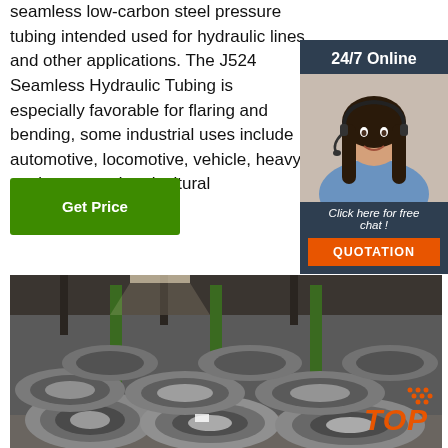seamless low-carbon steel pressure tubing intended used for hydraulic lines and other applications. The J524 Seamless Hydraulic Tubing is especially favorable for flaring and bending, some industrial uses include automotive, locomotive, vehicle, heavy equipment and agricultural applications.
Get Price
[Figure (photo): 24/7 Online chat widget with woman wearing headset, and QUOTATION button]
[Figure (photo): Coils of steel wire rod stacked in an industrial warehouse]